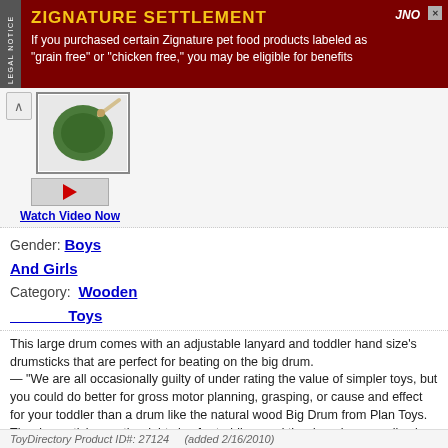[Figure (infographic): Advertisement banner for Zignature Settlement legal notice. Dark red background with yellow title 'ZIGNATURE SETTLEMENT' and white body text about grain free or chicken free pet food products.]
[Figure (photo): Product image of a green drum with drumsticks, partially visible in a white bordered box with a navigation up arrow button]
Watch Video Now
Gender: Boys And Girls
Category: Wooden Toys
This large drum comes with an adjustable lanyard and toddler hand size's drumsticks that are perfect for beating on the big drum.
— "We are all occasionally guilty of under rating the value of simpler toys, but you could do better for gross motor planning, grasping, or cause and effect for your toddler than a drum like the natural wood Big Drum from Plan Toys. The drum sticks are the right size for toddlers and the drum has a really nice woody sort of sound. Another great product from Plan Toys," Jennifer Shuman, owner of 1SmartNoodle, told TDmonthly at Toy Fair 2010.
— Plan Toys is one of Owner Donna Fredericks' best-selling wooden lines at The Toy House Toy Store in Durham, N.C.
— Gary Green, owner of The Toy Box of Asheville in Asheville, N.C., told TDmonthly in a January 2012 survey about musical products that they sold 30 of this item each week during the holiday shopping season.
ToyDirectory Product ID#: 27124     (added 2/16/2010)